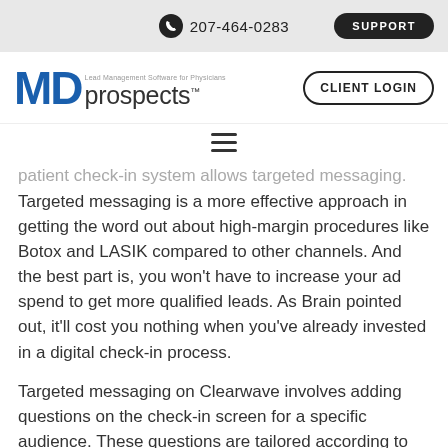207-464-0283 | SUPPORT
[Figure (logo): MD Prospects logo with tagline 'Lead Management Software for Physicians' and CLIENT LOGIN button]
patient check-in system allows targeted messaging. Targeted messaging is a more effective approach in getting the word out about high-margin procedures like Botox and LASIK compared to other channels. And the best part is, you won't have to increase your ad spend to get more qualified leads. As Brain pointed out, it'll cost you nothing when you've already invested in a digital check-in process.
Targeted messaging on Clearwave involves adding questions on the check-in screen for a specific audience. These questions are tailored according to